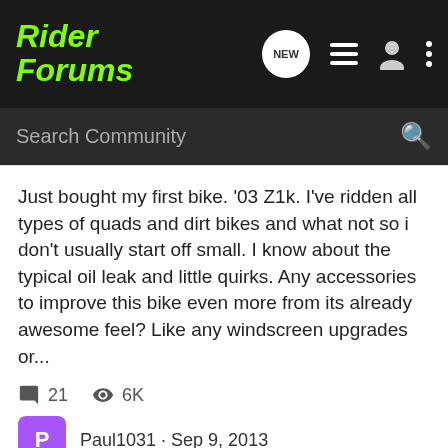RiderForums
Search Community
Just bought my first bike. '03 Z1k. I've ridden all types of quads and dirt bikes and what not so i don't usually start off small. I know about the typical oil leak and little quirks. Any accessories to improve this bike even more from its already awesome feel? Like any windscreen upgrades or...
21 comments · 6K views · Paul1031 · Sep 9, 2013
'03
accessories
kawasaki
z1000
z1k
Question about '03-'06 Z1k Swingarm
Z1K/Z750 Performance Upgrades
Does anyone know if the swingarm on the '03-'06 Z1k's will fit a Z750S? The frames look almost identical, and the motor